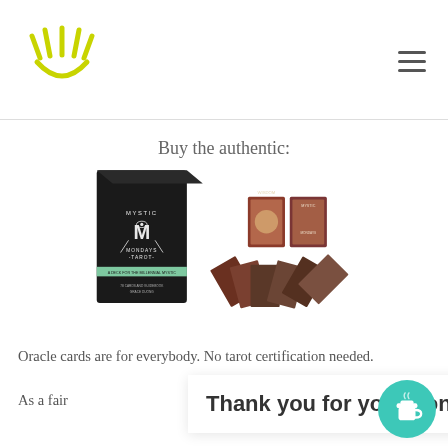Mystic Mondays Tarot website header with logo and hamburger menu
Buy the authentic:
[Figure (photo): Product photo of Mystic Mondays Tarot card deck box (black with white text and green accent) alongside spread of tarot cards and two upright cards showing the deck contents]
Oracle cards are for everybody. No tarot certification needed.
As a fair
nall amount
Thank you for your donation!